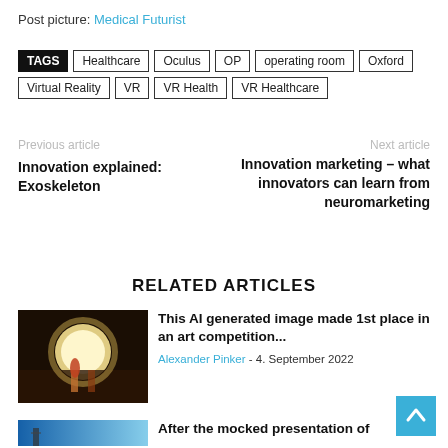Post picture: Medical Futurist
TAGS Healthcare Oculus OP operating room Oxford Virtual Reality VR VR Health VR Healthcare
Previous article
Innovation explained: Exoskeleton
Next article
Innovation marketing – what innovators can learn from neuromarketing
RELATED ARTICLES
[Figure (photo): AI generated art image showing figures in a glowing scene with a large bright circle]
This AI generated image made 1st place in an art competition...
Alexander Pinker - 4. September 2022
[Figure (photo): Thumbnail showing a cityscape with blue sky]
After the mocked presentation of